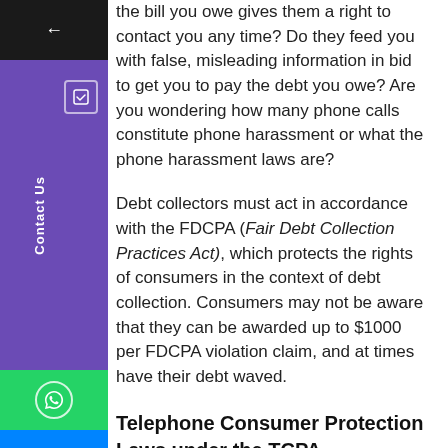the bill you owe gives them a right to contact you any time? Do they feed you with false, misleading information in bid to get you to pay the debt you owe? Are you wondering how many phone calls constitute phone harassment or what the phone harassment laws are?
Debt collectors must act in accordance with the FDCPA (Fair Debt Collection Practices Act), which protects the rights of consumers in the context of debt collection. Consumers may not be aware that they can be awarded up to $1000 per FDCPA violation claim, and at times have their debt waved.
Telephone Consumer Protection Laws under the TCPA
If you are plagued by frequent unwanted calls, it may